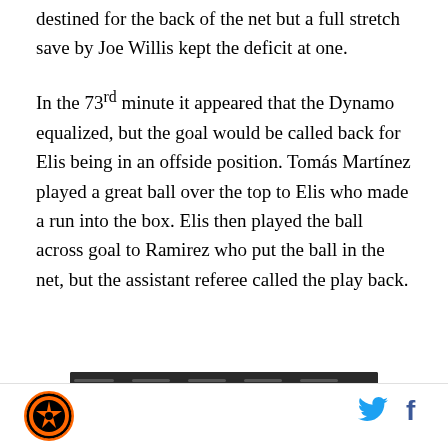destined for the back of the net but a full stretch save by Joe Willis kept the deficit at one.
In the 73rd minute it appeared that the Dynamo equalized, but the goal would be called back for Elis being in an offside position. Tomás Martínez played a great ball over the top to Elis who made a run into the box. Elis then played the ball across goal to Ramirez who put the ball in the net, but the assistant referee called the play back.
[Figure (screenshot): Video player thumbnail showing Top Articles label, Green Bay Packers background, play button, and three-dot menu]
Houston Dynamo logo, Twitter icon, Facebook icon